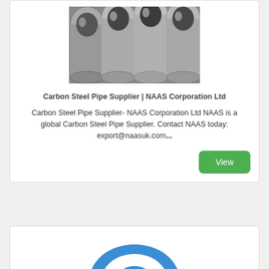[Figure (photo): Stack of metallic carbon steel pipes viewed from the end, showing circular cross-sections]
Carbon Steel Pipe Supplier | NAAS Corporation Ltd
Carbon Steel Pipe Supplier- NAAS Corporation Ltd NAAS is a global Carbon Steel Pipe Supplier. Contact NAAS today: export@naasuk.com...
[Figure (illustration): Partial blue shape or logo visible at the bottom of a second card]